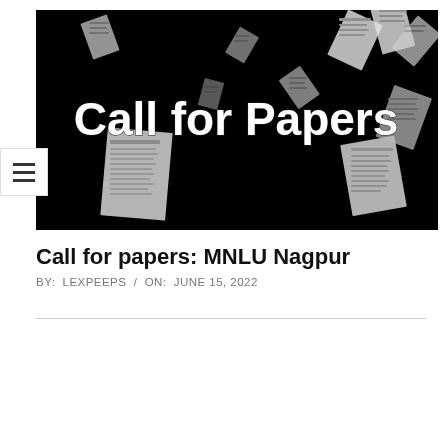[Figure (photo): Black background photo of papers flying in the air with bold white text 'Call for Papers' overlaid in the center]
Call for papers: MNLU Nagpur
BY: LEXPEEPS / ON: JUNE 15, 2022